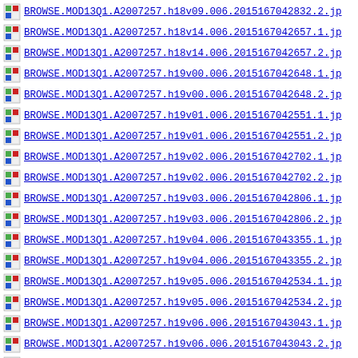BROWSE.MOD13Q1.A2007257.h18v09.006.2015167042832.2.jp
BROWSE.MOD13Q1.A2007257.h18v14.006.2015167042657.1.jp
BROWSE.MOD13Q1.A2007257.h18v14.006.2015167042657.2.jp
BROWSE.MOD13Q1.A2007257.h19v00.006.2015167042648.1.jp
BROWSE.MOD13Q1.A2007257.h19v00.006.2015167042648.2.jp
BROWSE.MOD13Q1.A2007257.h19v01.006.2015167042551.1.jp
BROWSE.MOD13Q1.A2007257.h19v01.006.2015167042551.2.jp
BROWSE.MOD13Q1.A2007257.h19v02.006.2015167042702.1.jp
BROWSE.MOD13Q1.A2007257.h19v02.006.2015167042702.2.jp
BROWSE.MOD13Q1.A2007257.h19v03.006.2015167042806.1.jp
BROWSE.MOD13Q1.A2007257.h19v03.006.2015167042806.2.jp
BROWSE.MOD13Q1.A2007257.h19v04.006.2015167043355.1.jp
BROWSE.MOD13Q1.A2007257.h19v04.006.2015167043355.2.jp
BROWSE.MOD13Q1.A2007257.h19v05.006.2015167042534.1.jp
BROWSE.MOD13Q1.A2007257.h19v05.006.2015167042534.2.jp
BROWSE.MOD13Q1.A2007257.h19v06.006.2015167043043.1.jp
BROWSE.MOD13Q1.A2007257.h19v06.006.2015167043043.2.jp
BROWSE.MOD13Q1.A2007257.h19v07.006.2015167042505.1.jp